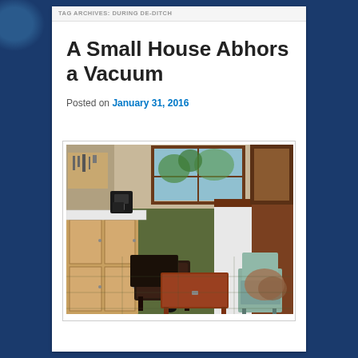TAG ARCHIVES: DURING DE-DITCH
A Small House Abhors a Vacuum
Posted on January 31, 2016
[Figure (photo): Interior photo of a small house kitchen/living area showing wooden cabinet units on the left, a coffee maker on the counter, a window with natural light, dark leather ottoman/footstool in the center, a wooden storage bench/chest in the foreground, and a mint-colored chair on the right side. Green tile floor visible.]